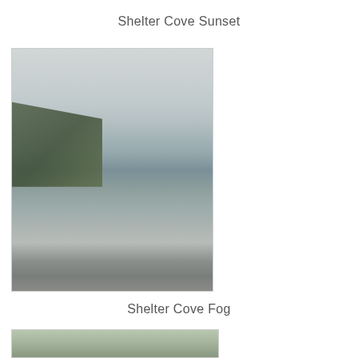Shelter Cove Sunset
[Figure (photo): Coastal photo showing a rocky jetty or breakwater in the foreground with grey-green water, a boat visible in the middle distance, fog-covered green hillside cliffs in the background, and overcast grey sky. The scene is misty and subdued in color.]
Shelter Cove Fog
[Figure (photo): Partial view of a second coastal photograph showing green vegetation, partially cropped at the bottom of the page.]